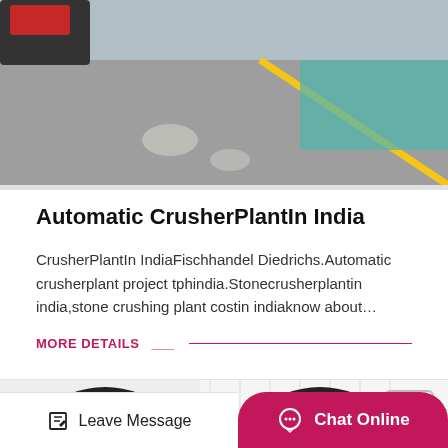[Figure (photo): Top portion of a crusher plant photo showing industrial floor with yellow line and teal/water area]
Automatic CrusherPlantIn India
CrusherPlantIn IndiaFischhandel Diedrichs.Automatic crusherplant project tphindia.Stonecrusherplantin india,stone crushing plant costin indiaknow about…
MORE DETAILS
[Figure (photo): Bottom image showing large orange industrial crusher wheels/rollers with rubber tires against a white background with trees]
Leave Message
Chat Online